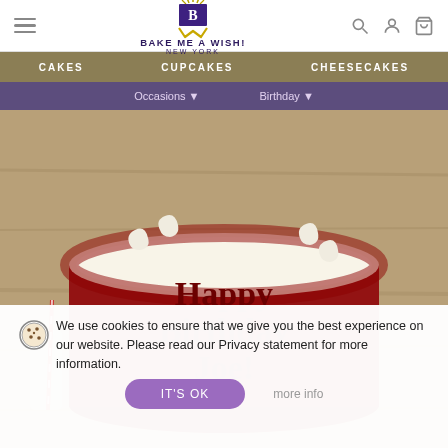BAKE ME A WISH! NEW YORK
CAKES   CUPCAKES   CHEESECAKES
Occasions ▼   Birthday ▼
[Figure (photo): A red velvet birthday cake decorated with cream cheese frosting swirls on a wooden table with a glass milk bottle and red striped straw. The cake reads 'Happy Birthday Joe!' in dark red lettering.]
We use cookies to ensure that we give you the best experience on our website. Please read our Privacy statement for more information.
IT'S OK   more info